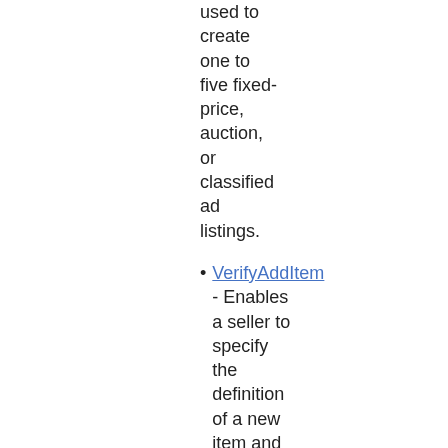which is used to create one to five fixed-price, auction, or classified ad listings.
VerifyAddItem - Enables a seller to specify the definition of a new item and submit the definition